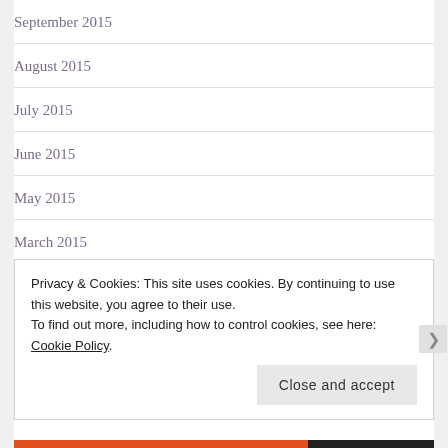September 2015
August 2015
July 2015
June 2015
May 2015
March 2015
January 2015
Privacy & Cookies: This site uses cookies. By continuing to use this website, you agree to their use.
To find out more, including how to control cookies, see here: Cookie Policy
Close and accept